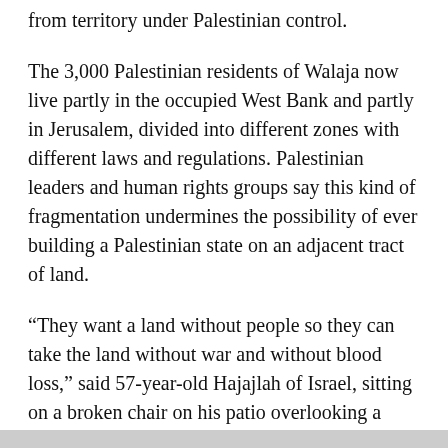from territory under Palestinian control.
The 3,000 Palestinian residents of Walaja now live partly in the occupied West Bank and partly in Jerusalem, divided into different zones with different laws and regulations. Palestinian leaders and human rights groups say this kind of fragmentation undermines the possibility of ever building a Palestinian state on an adjacent tract of land.
“They want a land without people so they can take the land without war and without blood loss,” said 57-year-old Hajajlah of Israel, sitting on a broken chair on his patio overlooking a valley with grazing sheep behind him. “And they succeed in that.”
The decline and division of Walaja began during the 1948 war when the 1,600 villagers fled their land. This was part